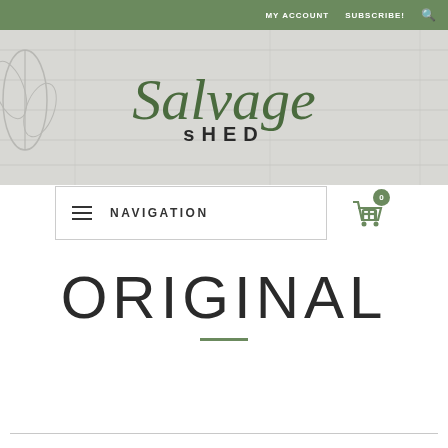MY ACCOUNT   SUBSCRIBE!
[Figure (logo): Salvage Shed logo with cursive 'Salvage' text above bold uppercase 'SHED' text, on a wood-plank style background with leaf decoration on the left]
NAVIGATION
ORIGINAL